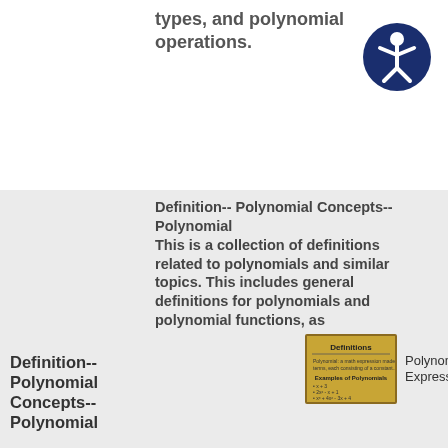types, and polynomial operations.
[Figure (illustration): Accessibility icon: white stick figure person in a dark blue circle]
Definition-- Polynomial Concepts-- Polynomial
Definition-- Polynomial Concepts-- Polynomial This is a collection of definitions related to polynomials and similar topics. This includes general definitions for polynomials and polynomial functions, as
[Figure (photo): Small thumbnail image with golden/brown background showing 'Definitions' title and some polynomial expressions text]
Polynomial Expressions